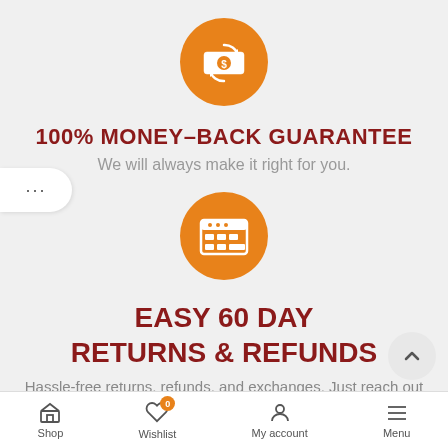[Figure (illustration): Orange circle with white money/refund icon (bills with circular arrows)]
100% MONEY-BACK GUARANTEE
We will always make it right for you.
[Figure (illustration): Orange circle with white calendar/table icon]
EASY 60 DAY RETURNS & REFUNDS
Hassle-free returns, refunds, and exchanges. Just reach out to our
Shop  Wishlist  My account  Menu